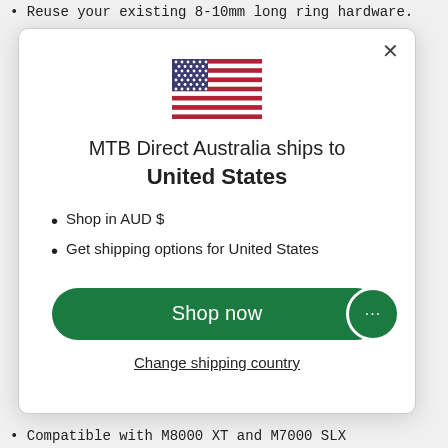• Reuse your existing 8-10mm long ring hardware.
[Figure (illustration): Modal dialog with US flag, shipping info for United States, and Shop now button]
• Compatible with M8000 XT and M7000 SLX